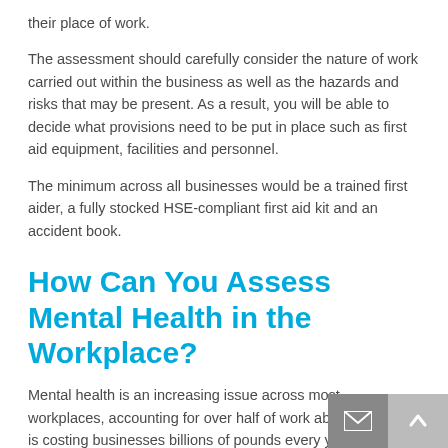their place of work.
The assessment should carefully consider the nature of work carried out within the business as well as the hazards and risks that may be present. As a result, you will be able to decide what provisions need to be put in place such as first aid equipment, facilities and personnel.
The minimum across all businesses would be a trained first aider, a fully stocked HSE-compliant first aid kit and an accident book.
How Can You Assess Mental Health in the Workplace?
Mental health is an increasing issue across most workplaces, accounting for over half of work absences which is costing businesses billions of pounds every year.
Therefore, it’s important that employers are aware of the problem and can identify and tackle it.
When conducting your first aid needs assessment you will